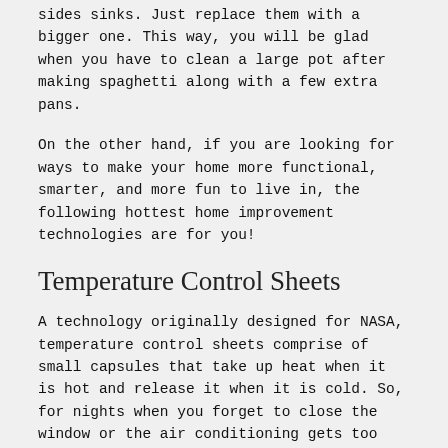sides sinks. Just replace them with a bigger one. This way, you will be glad when you have to clean a large pot after making spaghetti along with a few extra pans.
On the other hand, if you are looking for ways to make your home more functional, smarter, and more fun to live in, the following hottest home improvement technologies are for you!
Temperature Control Sheets
A technology originally designed for NASA, temperature control sheets comprise of small capsules that take up heat when it is hot and release it when it is cold. So, for nights when you forget to close the window or the air conditioning gets too cold, you can easily get through it with the help of these sheets.
Remote-Control Lights